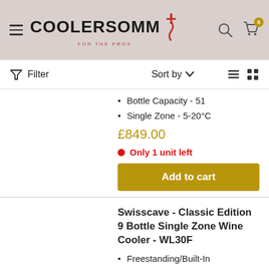COOLERSOMM - FOR THE PROS
Filter  Sort by
Bottle Capacity - 51
Single Zone - 5-20°C
£849.00
Only 1 unit left
Add to cart
Swisscave - Classic Edition 9 Bottle Single Zone Wine Cooler - WL30F
Freestanding/Built-In